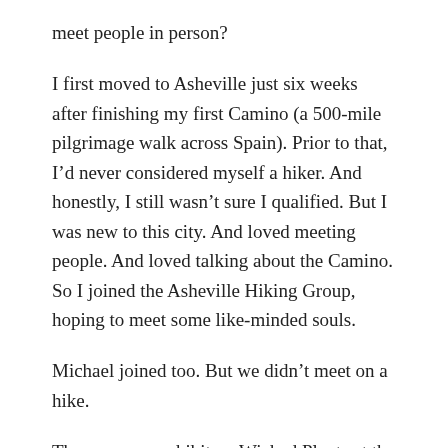meet people in person?
I first moved to Asheville just six weeks after finishing my first Camino (a 500-mile pilgrimage walk across Spain). Prior to that, I’d never considered myself a hiker. And honestly, I still wasn’t sure I qualified. But I was new to this city. And loved meeting people. And loved talking about the Camino. So I joined the Asheville Hiking Group, hoping to meet some like-minded souls.
Michael joined too. But we didn’t meet on a hike.
There was an exhibit on Wicked Plants at the